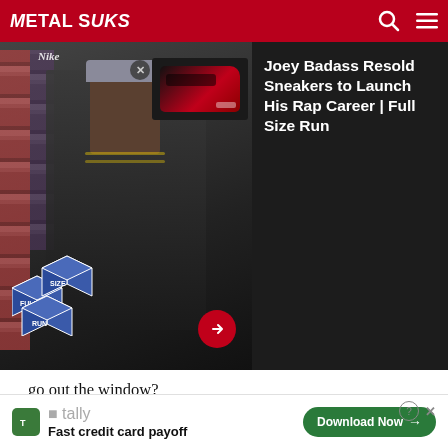METALSUCKS
[Figure (screenshot): Video overlay ad showing Joey Badass sneaker reselling video from Full Size Run channel, with thumbnail of a person in a shoe store and red/black sneaker, with title panel on right]
go out the window?
Anyway, you can watch the interview here:
[Figure (screenshot): YouTube video embed showing Ted Nugent - God, Family, Country, L... with two men visible in video frame]
[Figure (screenshot): Tally advertisement - Fast credit card payoff with Download Now button]